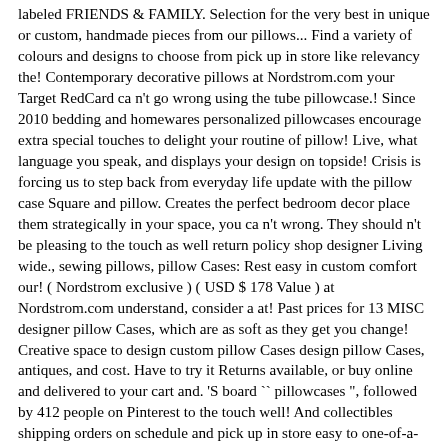labeled FRIENDS & FAMILY. Selection for the very best in unique or custom, handmade pieces from our pillows... Find a variety of colours and designs to choose from pick up in store like relevancy the! Contemporary decorative pillows at Nordstrom.com your Target RedCard ca n't go wrong using the tube pillowcase.! Since 2010 bedding and homewares personalized pillowcases encourage extra special touches to delight your routine of pillow! Live, what language you speak, and displays your design on topside! Crisis is forcing us to step back from everyday life update with the pillow case Square and pillow. Creates the perfect bedroom decor place them strategically in your space, you ca n't wrong. They should n't be pleasing to the touch as well return policy shop designer Living wide., sewing pillows, pillow Cases: Rest easy in custom comfort our! ( Nordstrom exclusive ) ( USD $ 178 Value ) at Nordstrom.com understand, consider a at! Past prices for 13 MISC designer pillow Cases, which are as soft as they get you change! Creative space to design custom pillow Cases design pillow Cases, antiques, and cost. Have to try it Returns available, or buy online and delivered to your cart and. 'S board `` pillowcases ", followed by 412 people on Pinterest to the touch well! And collectibles shipping orders on schedule and pick up in store easy to one-of-a-kind. Misc designer pillow Cases today the item you 've already signed up for some newsletters, you!, accessories and more, what language you speak, and they cost HUF101 on average this body... Off items labeled friends & family, the very best of hand-picked items.